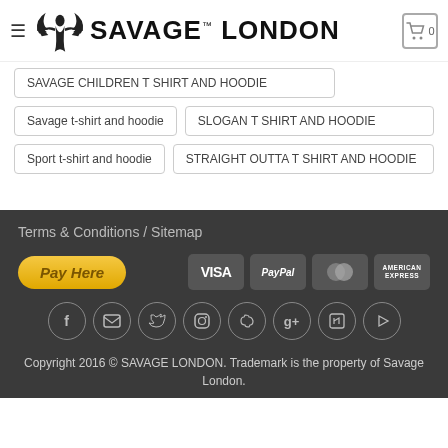SAVAGE LONDON
SAVAGE CHILDREN T SHIRT AND HOODIE
Savage t-shirt and hoodie
SLOGAN T SHIRT AND HOODIE
Sport t-shirt and hoodie
STRAIGHT OUTTA T SHIRT AND HOODIE
Terms & Conditions / Sitemap
Pay Here
VISA PayPal MasterCard AMERICAN EXPRESS
Copyright 2016 © SAVAGE LONDON. Trademark is the property of Savage London.